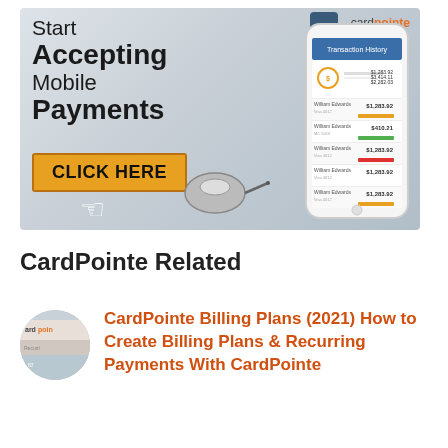[Figure (illustration): CardPointe advertisement banner showing 'Start Accepting Mobile Payments' with a CLICK HERE button, a phone mockup displaying transaction history, a computer mouse illustration, and the CardPointe logo in the top right.]
CardPointe Related
[Figure (photo): Circular thumbnail image for CardPointe article, showing the CardPointe logo with recurring payments branding.]
CardPointe Billing Plans (2021) How to Create Billing Plans & Recurring Payments With CardPointe